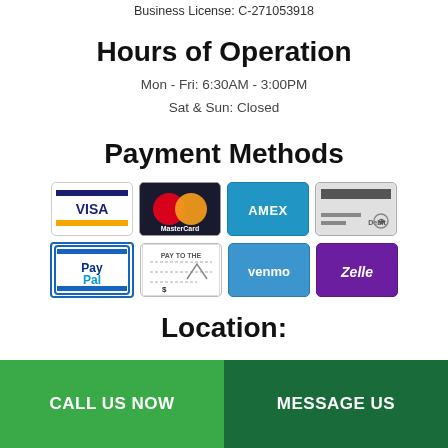Business License: C-271053918
Hours of Operation
Mon - Fri: 6:30AM - 3:00PM
Sat & Sun: Closed
Payment Methods
[Figure (infographic): Payment method icons: Visa, MasterCard, AMEX, Debit, PayPal, Check, Venmo, Zelle]
Location:
CALL US NOW
MESSAGE US